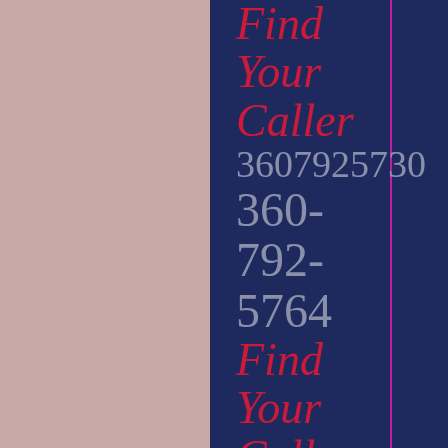Find Your Caller 3607925730 360-792-5764 Find Your Caller 3607925764 360-792-5782 Find Your
[Figure (other): Background layout with dusty rose side panels and dark navy blue center column with magenta vertical line]